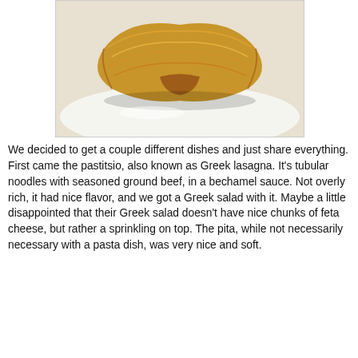[Figure (photo): A piece of pastitsio (Greek lasagna) pastry on a white plate, showing flaky golden-brown phyllo or pasta dough layers.]
We decided to get a couple different dishes and just share everything. First came the pastitsio, also known as Greek lasagna. It's tubular noodles with seasoned ground beef, in a bechamel sauce. Not overly rich, it had nice flavor, and we got a Greek salad with it. Maybe a little disappointed that their Greek salad doesn't have nice chunks of feta cheese, but rather a sprinkling on top. The pita, while not necessarily necessary with a pasta dish, was very nice and soft.
[Figure (photo): A plate with Greek salad (lettuce, tomatoes, olives, feta cheese) and pastitsio with pita triangles on the side.]